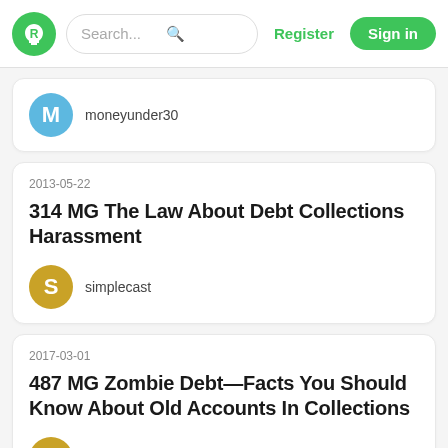Search... | Register | Sign in
M  moneyunder30
2013-05-22
314 MG The Law About Debt Collections Harassment
S  simplecast
2017-03-01
487 MG Zombie Debt—Facts You Should Know About Old Accounts In Collections
S  simplecast